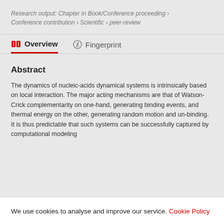Research output: Chapter in Book/Conference proceeding › Conference contribution › Scientific › peer-review
Overview   Fingerprint
Abstract
The dynamics of nucleic-acids dynamical systems is intrinsically based on local interaction. The major acting mechanisms are that of Watson-Crick complementarity on one-hand, generating binding events, and thermal energy on the other, generating random motion and un-binding. It is thus predictable that such systems can be successfully captured by computational modeling
We use cookies to analyse and improve our service. Cookie Policy